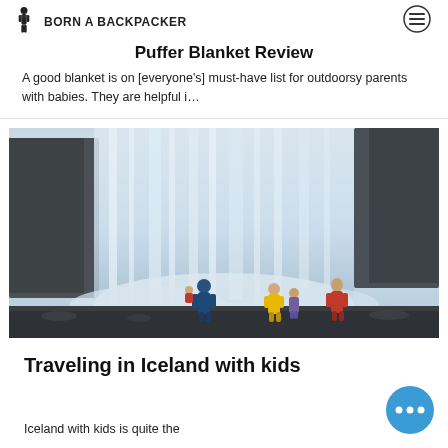Puffer Blanket Review
BORN A BACKPACKER
A good blanket is on [everyone's] must-have list for outdoorsy parents with babies. They are helpful i...
[Figure (photo): Family standing in front of a large waterfall in Iceland, with misty white water cascading down. Four people in colorful jackets visible in the foreground on a rocky beach.]
Traveling in Iceland with kids
Iceland with kids is quite the